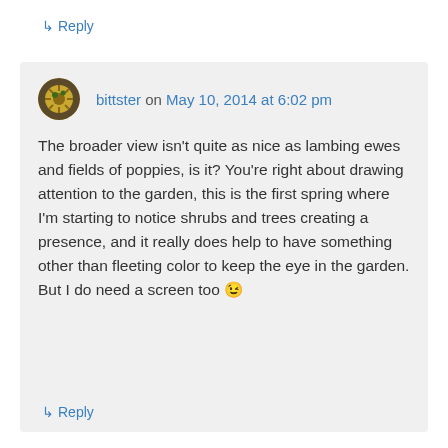↳ Reply
bittster on May 10, 2014 at 6:02 pm
The broader view isn't quite as nice as lambing ewes and fields of poppies, is it? You're right about drawing attention to the garden, this is the first spring where I'm starting to notice shrubs and trees creating a presence, and it really does help to have something other than fleeting color to keep the eye in the garden.
But I do need a screen too 😉
↳ Reply